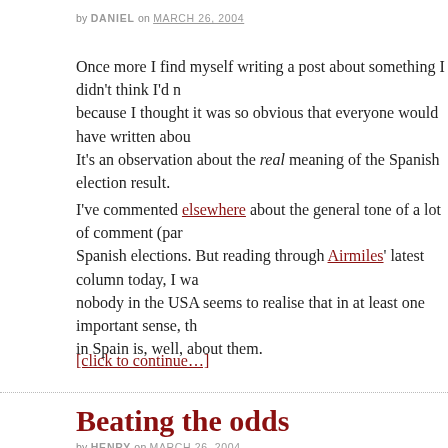by DANIEL on MARCH 26, 2004
Once more I find myself writing a post about something I didn’t think I’d need to, because I thought it was so obvious that everyone would have written about it already. It’s an observation about the real meaning of the Spanish election result.
I’ve commented elsewhere about the general tone of a lot of comment (par…) on the Spanish elections. But reading through Airmiles’ latest column today, I wa… that nobody in the USA seems to realise that in at least one important sense, the… in Spain is, well, about them.
[click to continue…]
Beating the odds
by HENRY on MARCH 26, 2004
The WTO has just handed down a “preliminary ruling”:http://news.bbc.co.uk/2/hi/business/3568281.stm that Internet polic… been waiting for with considerable impatience. Last June, the Caribbean is… Barbados to the WTO against the US for restrictions of trade. The i…